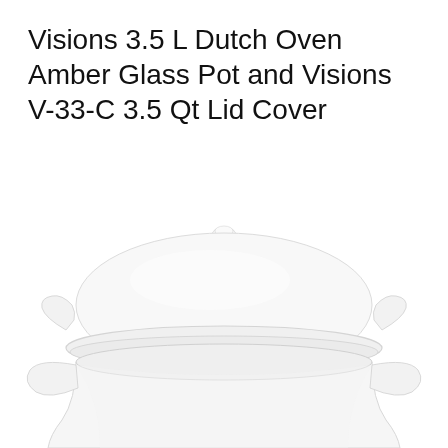Visions 3.5 L Dutch Oven Amber Glass Pot and Visions V-33-C 3.5 Qt Lid Cover
[Figure (photo): A white/translucent glass Dutch oven with lid showing knob handle on top and two side handles on the pot, photographed against a white background. The image shows the upper portion of the pot with the lid resting on it.]